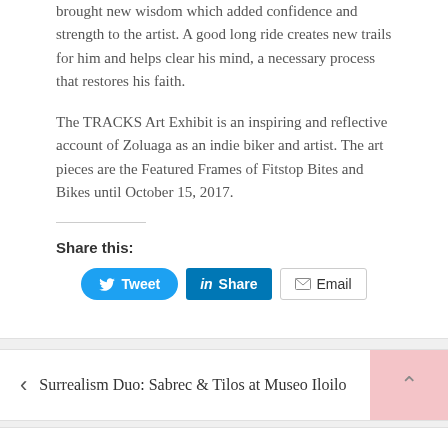brought new wisdom which added confidence and strength to the artist. A good long ride creates new trails for him and helps clear his mind, a necessary process that restores his faith.
The TRACKS Art Exhibit is an inspiring and reflective account of Zoluaga as an indie biker and artist. The art pieces are the Featured Frames of Fitstop Bites and Bikes until October 15, 2017.
Share this:
[Figure (screenshot): Social sharing buttons: Tweet (Twitter/blue rounded), Share (LinkedIn/blue square), Email (white with border)]
< Surrealism Duo: Sabrec & Tilos at Museo Iloilo
Discover products, history as Tinukib opens Casa Gamboa >